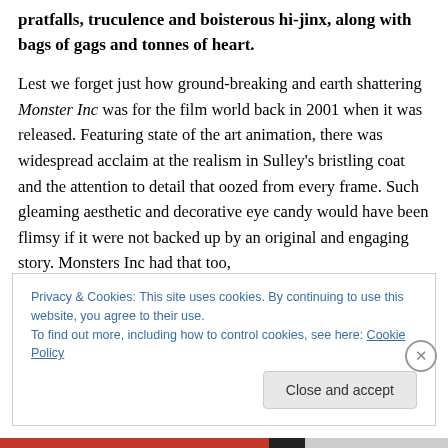pratfalls, truculence and boisterous hi-jinx, along with bags of gags and tonnes of heart.
Lest we forget just how ground-breaking and earth shattering Monster Inc was for the film world back in 2001 when it was released. Featuring state of the art animation, there was widespread acclaim at the realism in Sulley's bristling coat and the attention to detail that oozed from every frame. Such gleaming aesthetic and decorative eye candy would have been flimsy if it were not backed up by an original and engaging story. Monsters Inc had that too,
Privacy & Cookies: This site uses cookies. By continuing to use this website, you agree to their use. To find out more, including how to control cookies, see here: Cookie Policy
Close and accept